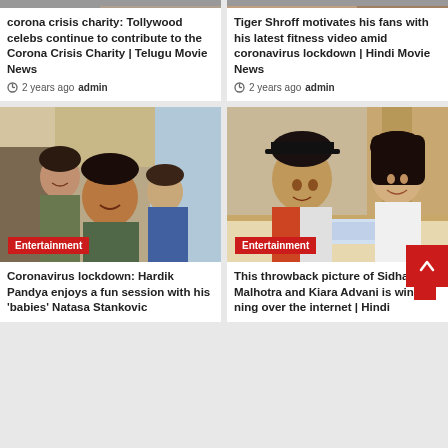[Figure (photo): Top cropped image strip - left card]
corona crisis charity: Tollywood celebs continue to contribute to the Corona Crisis Charity | Telugu Movie News
2 years ago  admin
[Figure (photo): Top cropped image strip - right card]
Tiger Shroff motivates his fans with his latest fitness video amid coronavirus lockdown | Hindi Movie News
2 years ago  admin
[Figure (photo): Hardik Pandya gym selfie with Natasa Stankovic - Entertainment badge]
Coronavirus lockdown: Hardik Pandya enjoys a fun session with his 'babies' Natasa Stankovic
[Figure (photo): Sidharth Malhotra and Kiara Advani throwback picture - Entertainment badge]
This throwback picture of Sidharth Malhotra and Kiara Advani is winning over the internet | Hindi